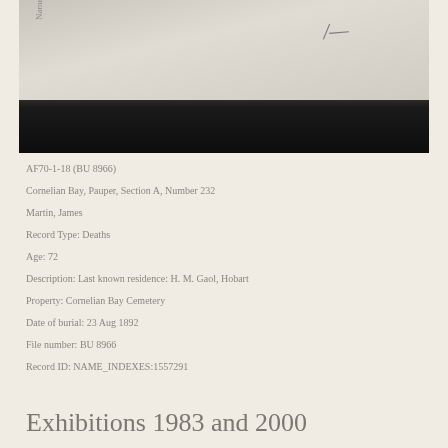[Figure (photo): Black and white photograph of a document or record, partially visible with a signature in the upper right area and faint text on the left side. The lower portion is dark/black.]
AF70-1-18 (BU 8966)
Cornelian Bay, Pauper, Section A, Number 232
Martin, James
Record Type: Deaths
Age: 72
Description: Last known residence: H. M. Gaol, Hobart
Property: Cornelian Bay Cemetery
Date of burial: 23 Aug 1892
File number: BU 8966
Record ID: NAME_INDEXES:1557291
Exhibitions 1983 and 2000